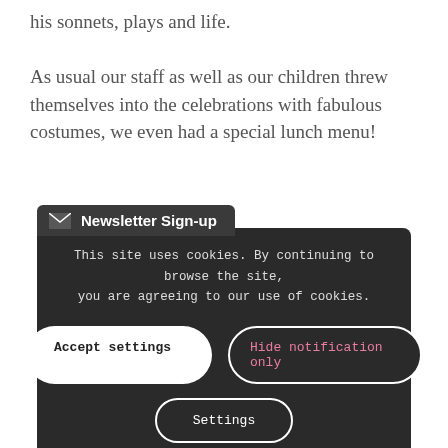his sonnets, plays and life.

As usual our staff as well as our children threw themselves into the celebrations with fabulous costumes, we even had a special lunch menu!
[Figure (screenshot): Cookie consent overlay with dark background showing Newsletter Sign-up tab, cookie notice text, and three buttons: Accept settings, Hide notification only, and Settings.]